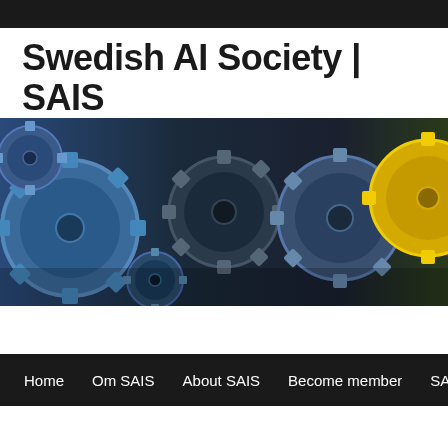Swedish AI Society | SAIS
[Figure (illustration): Banner image showing multiple interlocking gears in blue, dark gray/black, and yellow tones against a dark background, representing artificial intelligence or mechanical/technological theme.]
Home   Om SAIS   About SAIS   Become member   SAIS Maste...